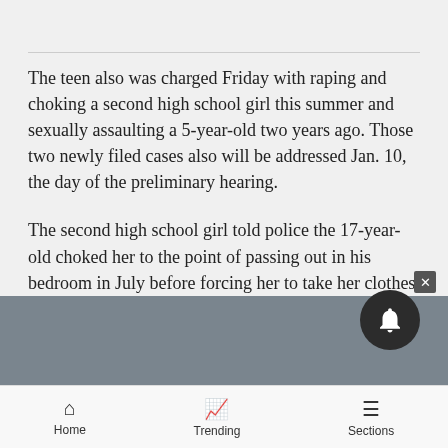The teen also was charged Friday with raping and choking a second high school girl this summer and sexually assaulting a 5-year-old two years ago. Those two newly filed cases also will be addressed Jan. 10, the day of the preliminary hearing.
The second high school girl told police the 17-year-old choked her to the point of passing out in his bedroom in July before forcing her to take her clothes off and raping her, according to an affidavit filed Friday in District Court.
Home   Trending   Sections